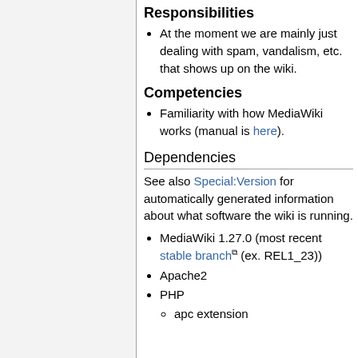Responsibilities
At the moment we are mainly just dealing with spam, vandalism, etc. that shows up on the wiki.
Competencies
Familiarity with how MediaWiki works (manual is here).
Dependencies
See also Special:Version for automatically generated information about what software the wiki is running.
MediaWiki 1.27.0 (most recent stable branch (ex. REL1_23))
Apache2
PHP
apc extension